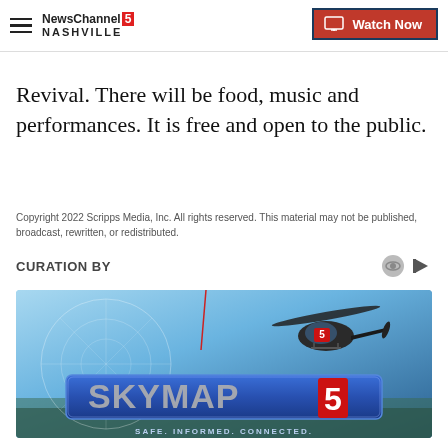NewsChannel 5 Nashville | Watch Now
Revival. There will be food, music and performances. It is free and open to the public.
Copyright 2022 Scripps Media, Inc. All rights reserved. This material may not be published, broadcast, rewritten, or redistributed.
CURATION BY
[Figure (photo): Skymap5 branded helicopter aerial image with text SKYMAP5 and tagline SAFE. INFORMED. CONNECTED.]